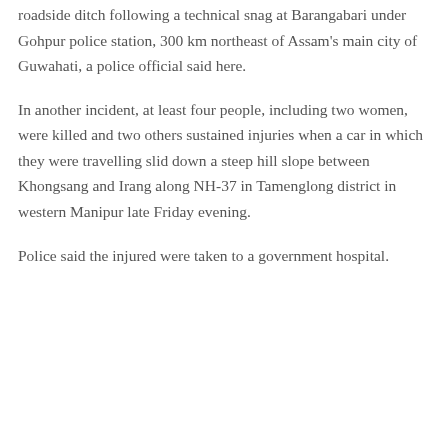roadside ditch following a technical snag at Barangabari under Gohpur police station, 300 km northeast of Assam's main city of Guwahati, a police official said here.
In another incident, at least four people, including two women, were killed and two others sustained injuries when a car in which they were travelling slid down a steep hill slope between Khongsang and Irang along NH-37 in Tamenglong district in western Manipur late Friday evening.
Police said the injured were taken to a government hospital.